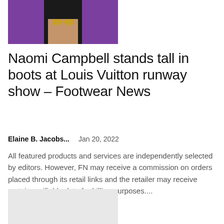[Figure (photo): Partial photo of a person (Naomi Campbell) wearing sunglasses against a purple background, cropped at top of page]
Naomi Campbell stands tall in boots at Louis Vuitton runway show – Footwear News
Elaine B. Jacobs...    Jan 20, 2022
All featured products and services are independently selected by editors. However, FN may receive a commission on orders placed through its retail links and the retailer may receive certain verifiable data for billing purposes....
[Figure (photo): Light grey placeholder image at bottom of page]